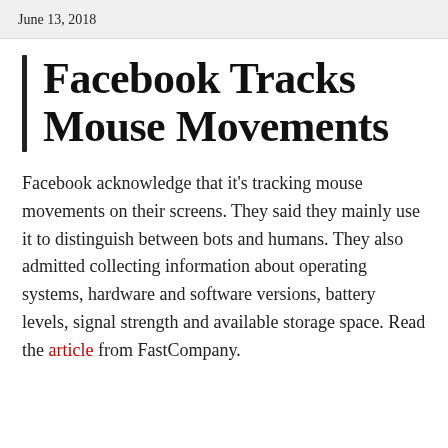June 13, 2018
Facebook Tracks Mouse Movements
Facebook acknowledge that it's tracking mouse movements on their screens. They said they mainly use it to distinguish between bots and humans. They also admitted collecting information about operating systems, hardware and software versions, battery levels, signal strength and available storage space. Read the article from FastCompany.